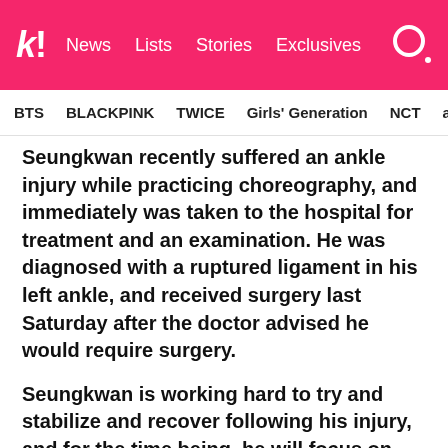k! News Lists Stories Exclusives
BTS BLACKPINK TWICE Girls' Generation NCT aespa
Seungkwan recently suffered an ankle injury while practicing choreography, and immediately was taken to the hospital for treatment and an examination. He was diagnosed with a ruptured ligament in his left ankle, and received surgery last Saturday after the doctor advised he would require surgery.
Seungkwan is working hard to try and stabilize and recover following his injury, and for the time being, he will focus on rest and recovery.